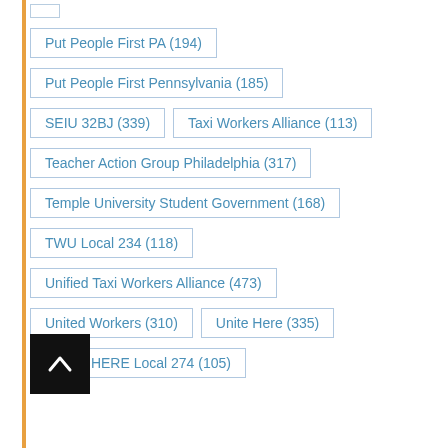Put People First PA (194)
Put People First Pennsylvania (185)
SEIU 32BJ (339)
Taxi Workers Alliance (113)
Teacher Action Group Philadelphia (317)
Temple University Student Government (168)
TWU Local 234 (118)
Unified Taxi Workers Alliance (473)
United Workers (310)
Unite Here (335)
UNITE HERE Local 274 (105)